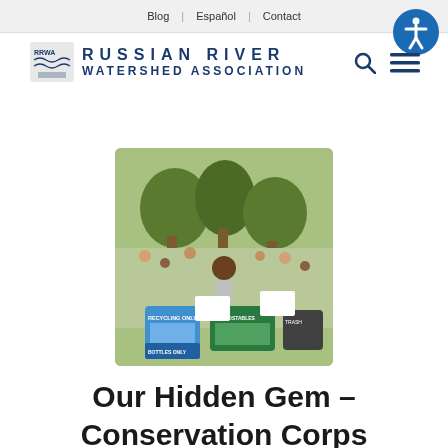Blog | Español | Contact
[Figure (logo): Russian River Watershed Association logo with RRWA initials and stylized river/landscape icon, blue text]
[Figure (photo): Outdoor event scene showing a person standing behind recycling/composting bins labeled COMPOSTABLES and RECYCLING ONLY in a park with trees and crowd in background]
Our Hidden Gem – Conservation Corps